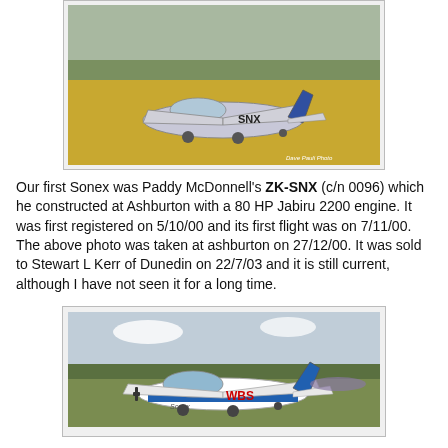[Figure (photo): Photo of a small aircraft with registration SNX on a grassy airfield. Photo credit: Dave Pauli Photo]
Our first Sonex was Paddy McDonnell's ZK-SNX (c/n 0096) which he constructed at Ashburton with a 80 HP Jabiru 2200 engine.  It was first registered on 5/10/00 and its first flight was on 7/11/00.  The above photo was taken at ashburton on 27/12/00.  It was sold to Stewart L Kerr of Dunedin on 22/7/03 and it is still current, although I have not seen it for a long time.
[Figure (photo): Photo of a white and blue Sonex aircraft with partial registration WBS visible on a grassy airfield]